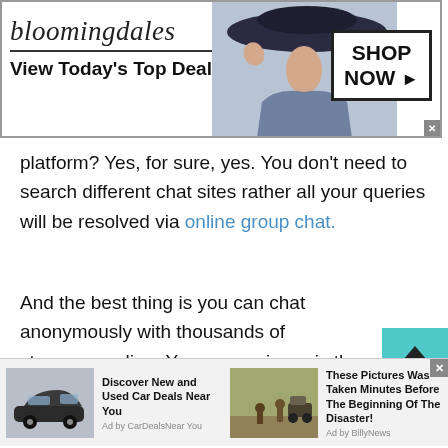[Figure (screenshot): Bloomingdale's advertisement banner with logo, 'View Today's Top Deals!' tagline, woman in hat photo, and 'SHOP NOW >' button]
platform? Yes, for sure, yes. You don't need to search different chat sites rather all your queries will be resolved via online group chat.
And the best thing is you can chat anonymously with thousands of strangers online. Yes, your privacy is the utmost concern of TWS online group chat. If you don't want to share your real name then it's absolutely fine. All you need a nickname, tap a group chat button and you are ready to talk to multiple people at a time.
[Figure (screenshot): Bottom advertisement strip with two ads: 'Discover New and Used Car Deals Near You' by CarDealsNearYou, and 'These Pictures Was Taken Minutes Before The Beginning Of The Disaster!' by BillyNews]